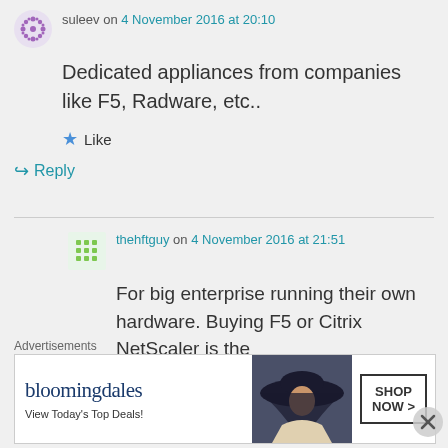suleev on 4 November 2016 at 20:10
Dedicated appliances from companies like F5, Radware, etc..
Like
Reply
thehftguy on 4 November 2016 at 21:51
For big enterprise running their own hardware. Buying F5 or Citrix NetScaler is the
Advertisements
[Figure (other): Bloomingdale's advertisement banner: 'bloomingdales View Today's Top Deals!' with a woman in a large hat and 'SHOP NOW >' button]